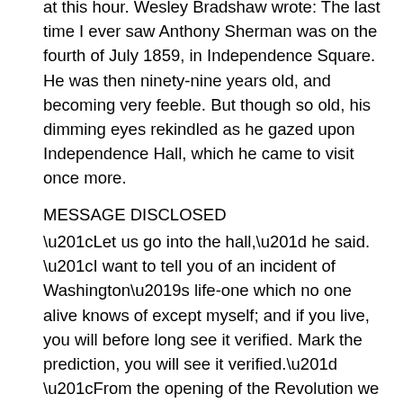at this hour. Wesley Bradshaw wrote: The last time I ever saw Anthony Sherman was on the fourth of July 1859, in Independence Square. He was then ninety-nine years old, and becoming very feeble. But though so old, his dimming eyes rekindled as he gazed upon Independence Hall, which he came to visit once more.
MESSAGE DISCLOSED
“Let us go into the hall,” he said. “I want to tell you of an incident of Washington’s life-one which no one alive knows of except myself; and if you live, you will before long see it verified. Mark the prediction, you will see it verified.” “From the opening of the Revolution we experienced all phases-of fortune, now good and now ill, one time victorious and another conquered. The